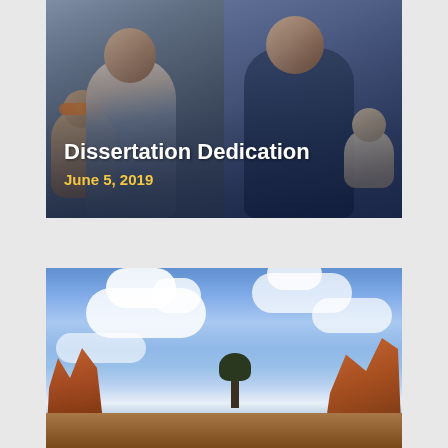[Figure (photo): Two photos side by side: left shows a bald man with a young girl wearing orange sunglasses leaning on him; right shows a heavyset bald man in dark blue shirt holding a baby. White text overlay reads 'Dissertation Dedication' with date 'June 5, 2019' in gold/yellow.]
Dissertation Dedication
June 5, 2019
[Figure (photo): Landscape photo showing a blue sky with white clouds and red rock formations (likely Bryce Canyon or similar Utah/Colorado desert landscape) with a lone tree silhouetted against the sky.]